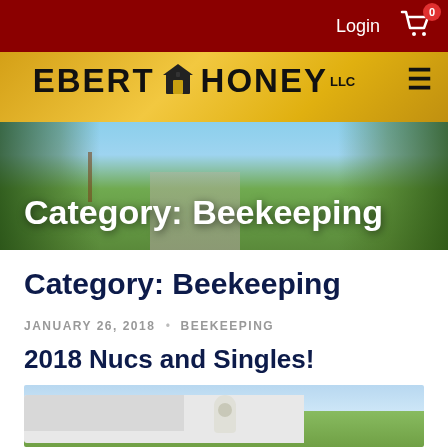Login  0
[Figure (screenshot): Ebert Honey LLC website header banner with logo, hamburger menu, and scenic farm background with 'Category: Beekeeping' overlay text]
Category: Beekeeping
JANUARY 26, 2018 · BEEKEEPING
2018 Nucs and Singles!
[Figure (photo): Person in beekeeper suit standing near a white truck in a green field]